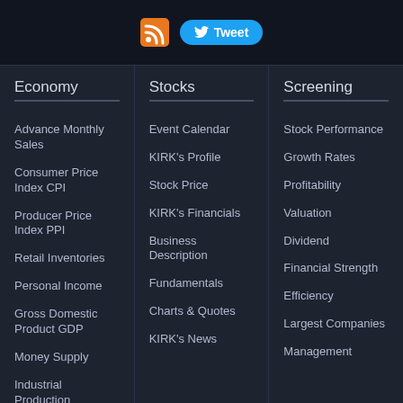[Figure (infographic): Header bar with RSS icon and Tweet button]
Economy
Advance Monthly Sales
Consumer Price Index CPI
Producer Price Index PPI
Retail Inventories
Personal Income
Gross Domestic Product GDP
Money Supply
Industrial Production
Stocks
Event Calendar
KIRK's Profile
Stock Price
KIRK's Financials
Business Description
Fundamentals
Charts & Quotes
KIRK's News
Screening
Stock Performance
Growth Rates
Profitability
Valuation
Dividend
Financial Strength
Efficiency
Largest Companies
Management